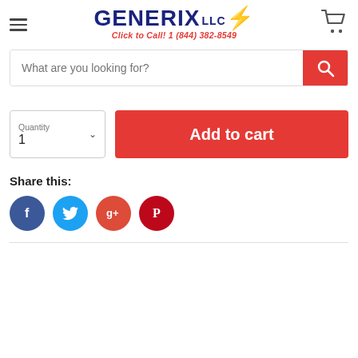[Figure (logo): GENERIX LLC logo with lightning bolt and tagline 'Click to Call! 1 (844) 382-8549']
[Figure (screenshot): Search bar with placeholder text 'What are you looking for?' and red search button with magnifying glass icon]
[Figure (screenshot): Quantity selector showing '1' with dropdown arrow and red 'Add to cart' button]
Share this:
[Figure (infographic): Social sharing icons: Facebook (blue), Twitter (light blue), Google+ (red), Pinterest (dark red)]